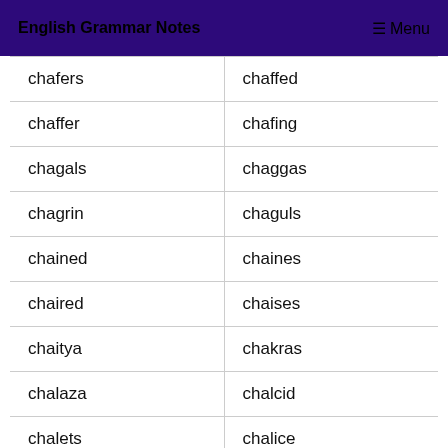English Grammar Notes  ≡ Menu
| chafers | chaffed |
| chaffer | chafing |
| chagals | chaggas |
| chagrin | chaguls |
| chained | chaines |
| chaired | chaises |
| chaitya | chakras |
| chalaza | chalcid |
| chalets | chalice |